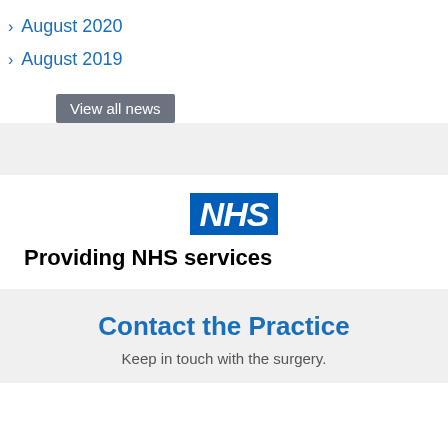August 2020
August 2019
View all news
[Figure (logo): NHS logo - blue rectangle with white bold italic text 'NHS']
Providing NHS services
Contact the Practice
Keep in touch with the surgery.